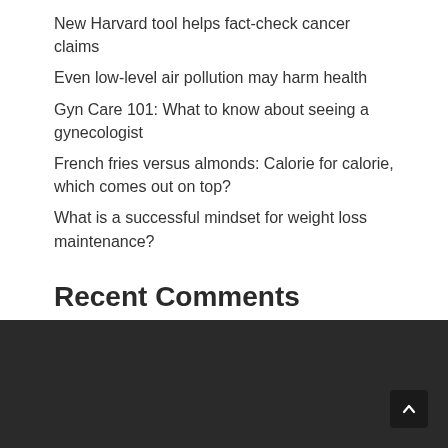New Harvard tool helps fact-check cancer claims
Even low-level air pollution may harm health
Gyn Care 101: What to know about seeing a gynecologist
French fries versus almonds: Calorie for calorie, which comes out on top?
What is a successful mindset for weight loss maintenance?
Recent Comments
No comments to show.